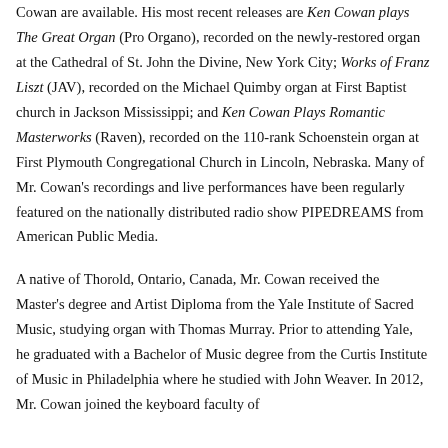Cowan are available. His most recent releases are Ken Cowan plays The Great Organ (Pro Organo), recorded on the newly-restored organ at the Cathedral of St. John the Divine, New York City; Works of Franz Liszt (JAV), recorded on the Michael Quimby organ at First Baptist church in Jackson Mississippi; and Ken Cowan Plays Romantic Masterworks (Raven), recorded on the 110-rank Schoenstein organ at First Plymouth Congregational Church in Lincoln, Nebraska. Many of Mr. Cowan's recordings and live performances have been regularly featured on the nationally distributed radio show PIPEDREAMS from American Public Media.
A native of Thorold, Ontario, Canada, Mr. Cowan received the Master's degree and Artist Diploma from the Yale Institute of Sacred Music, studying organ with Thomas Murray. Prior to attending Yale, he graduated with a Bachelor of Music degree from the Curtis Institute of Music in Philadelphia where he studied with John Weaver. In 2012, Mr. Cowan joined the keyboard faculty of